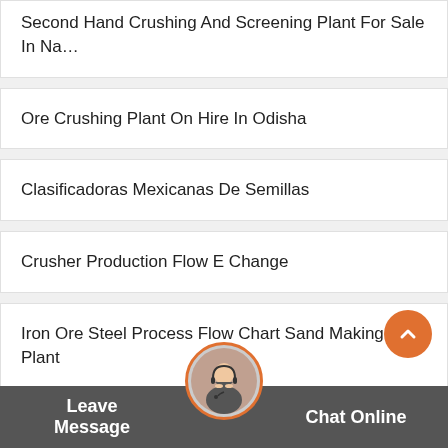Second Hand Crushing And Screening Plant For Sale In Na…
Ore Crushing Plant On Hire In Odisha
Clasificadoras Mexicanas De Semillas
Crusher Production Flow E Change
Iron Ore Steel Process Flow Chart Sand Making Plant
Feed Mill That Process 2 Ton Per Hour
China Hammer Mill Spares
Yuhong Large Grinding Capacity Output Size Cement Gr…
Leave Message   Chat Online